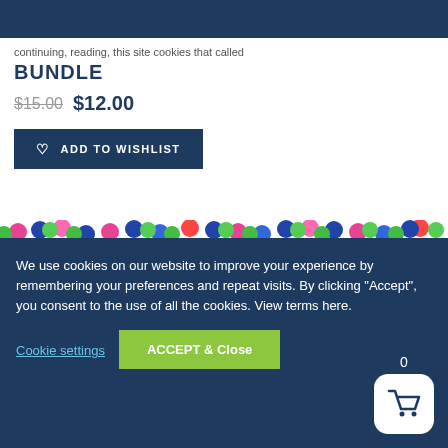continuing, reading, this site cookies that called
BUNDLE
$15.00 $12.00
ADD TO WISHLIST
[Figure (illustration): Colorful polka dot bordered banner with dashed stitch border reading 'Digraphs & Blends' in blue font on white background]
We use cookies on our website to improve your experience by remembering your preferences and repeat visits. By clicking “Accept”, you consent to the use of all the cookies. View terms here.
Cookie settings
ACCEPT & Close